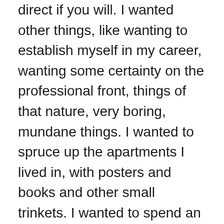direct if you will. I wanted other things, like wanting to establish myself in my career, wanting some certainty on the professional front, things of that nature, very boring, mundane things. I wanted to spruce up the apartments I lived in, with posters and books and other small trinkets. I wanted to spend an entire weekend playing video games. I wanted to go to local breweries and try out their seasonal brews. I wanted to go to local cafes and restaurants and have coffee or meals by myself as I people-watched. I wanted to clean my house slowly and methodically while I listened to music or podcasts. I wanted to take long walks in local parks just to breathe freely and think through things. Things to do by myself, alone, to charge my internal battery up.
I did half-heartedly try enjoying those frivolous things here and there in these seven years. It always felt like I was